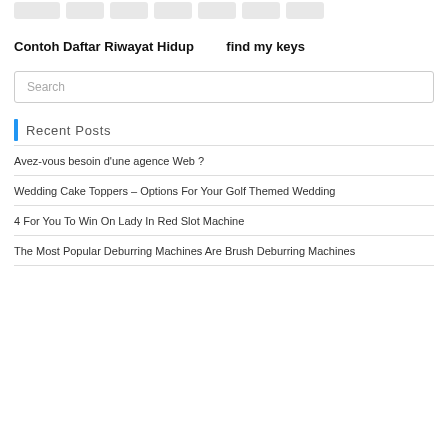[navigation buttons]
Contoh Daftar Riwayat Hidup
find my keys
Search
Recent Posts
Avez-vous besoin d'une agence Web ?
Wedding Cake Toppers – Options For Your Golf Themed Wedding
4 For You To Win On Lady In Red Slot Machine
The Most Popular Deburring Machines Are Brush Deburring Machines